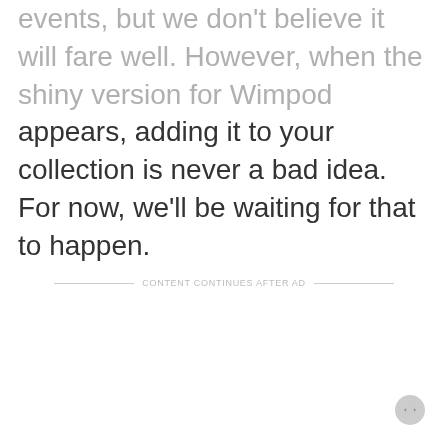events, but we don't believe it will fare well. However, when the shiny version for Wimpod appears, adding it to your collection is never a bad idea. For now, we'll be waiting for that to happen.
CONTENT CONTINUES AFTER AD